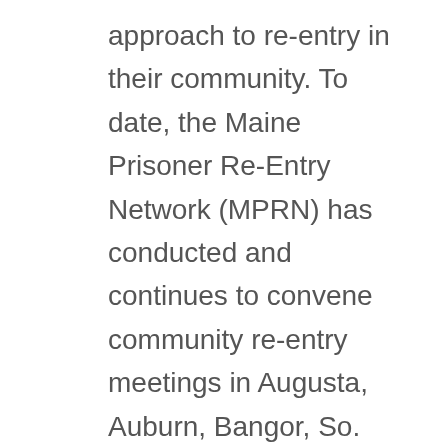approach to re-entry in their community. To date, the Maine Prisoner Re-Entry Network (MPRN) has conducted and continues to convene community re-entry meetings in Augusta, Auburn, Bangor, So. Portland, Westbrook, Rockland, Somerset County Jail, and Maine State Prison with more meetings planned for Kennebec County Sheriff's Office, York County, Aroostook County, Belfast, and Downeast.
The Maine Prisoner Re-Entry Network (MPRN) is made up of member community organizations, agencies, non-profits, prison ministries, Department of Corrections Representatives, County Jail Officers,